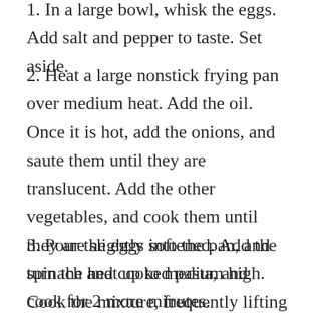1. In a large bowl, whisk the eggs. Add salt and pepper to taste. Set aside.
2. Heat a large nonstick frying pan over medium heat. Add the oil. Once it is hot, add the onions, and saute them until they are translucent. Add the other vegetables, and cook them until they are slightly softened. Add the spinach and cooked pasta, and cook for 2 more minutes.
3. Pour the eggs into the pan, and turn the heat up to medium high. Cook the mixture, frequently lifting up the egg so that the uncooked egg flows underneath, until the egg is almost fully set.